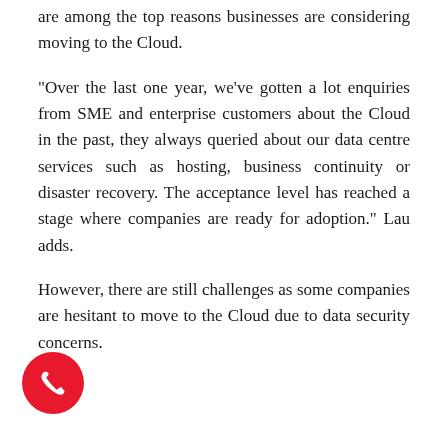are among the top reasons businesses are considering moving to the Cloud.
"Over the last one year, we've gotten a lot enquiries from SME and enterprise customers about the Cloud in the past, they always queried about our data centre services such as hosting, business continuity or disaster recovery. The acceptance level has reached a stage where companies are ready for adoption." Lau adds.
However, there are still challenges as some companies are hesitant to move to the Cloud due to data security concerns.
[Figure (illustration): Red circular phone call button icon with white phone handset symbol, positioned at bottom-left of the page]